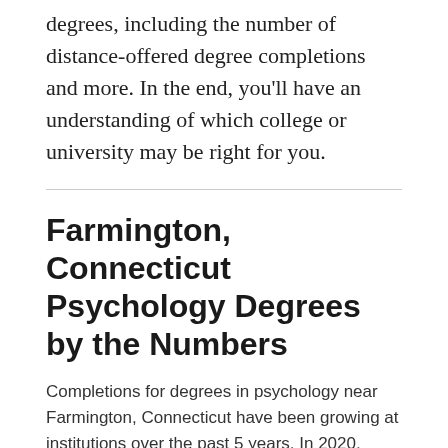degrees, including the number of distance-offered degree completions and more. In the end, you'll have an understanding of which college or university may be right for you.
Farmington, Connecticut Psychology Degrees by the Numbers
Completions for degrees in psychology near Farmington, Connecticut have been growing at institutions over the past 5 years. In 2020, students completed 518 psychology-related degree programs